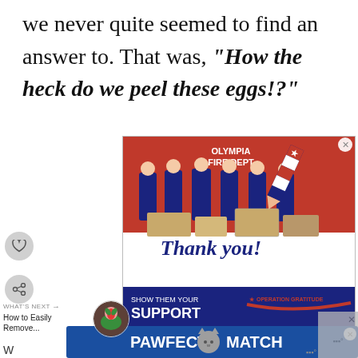we never quite seemed to find an answer to. That was, "How the heck do we peel these eggs!?"
[Figure (photo): Advertisement showing firefighters from Olympia Fire Department posing in front of a fire truck with boxes and supplies. Below the photo is cursive text reading 'Thank you!' with a patriotic pencil graphic. Text reads 'SHOW THEM YOUR SUPPORT' and 'OPERATION GRATITUDE' logo.]
[Figure (photo): Advertisement banner reading 'PAWFECT MATCH' with a cat illustration on a blue background.]
WHAT'S NEXT → How to Easily Remove...